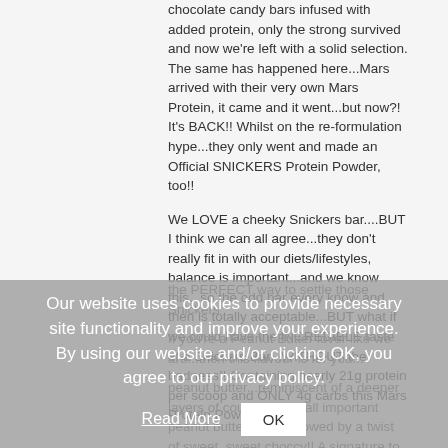chocolate candy bars infused with added protein, only the strong survived and now we're left with a solid selection. The same has happened here...Mars arrived with their very own Mars Protein, it came and it went...but now?! It's BACK!! Whilst on the re-formulation hype...they only went and made an Official SNICKERS Protein Powder, too!!
We LOVE a cheeky Snickers bar....BUT I think we can all agree...they don't really fit in with our diets/lifestyles, balance is important...and we know this...so the odd bar every know and then is totally acceptable...BUT what if we could have the INCREDIBLE taste of a Snickers Bar...WITHOUT the badness!! Containing nearly 21g protein per scoop and ONLY 4g carbs this Mars Protein Powder is
the PERFECT way to settle those Snickers
If you're a Peanut Butter lover like we are...then this flavour is for you...
peanut butter...reminiscent of a deeper layers of course!! That all important peanut butter taste followed by a twist of sweet, sweet choccy!! A signature to that REAL Snickers chocolate taste!!!If you guys have tried the Snickers Protein Bar...TRIED and
Our website uses cookies to provide necessary site functionality and improve your experience. By using our website and/or clicking OK, you agree to our privacy policy.
Read More
OK